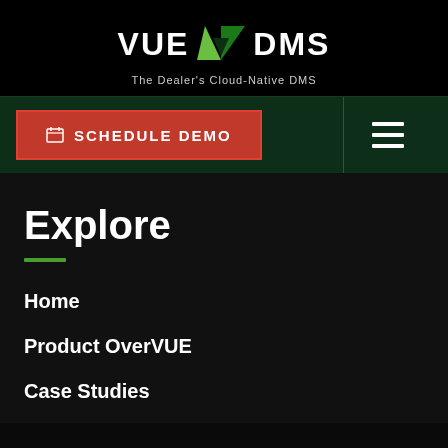[Figure (logo): VUE DMS logo with green V chevron symbol between VUE and DMS text, tagline: The Dealer's Cloud-Native DMS]
SCHEDULE DEMO
Explore
Home
Product OverVUE
Case Studies